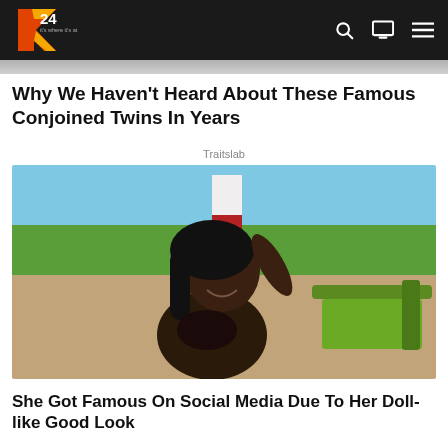K24 navigation bar with logo, search, TV and menu icons
Why We Haven't Heard About These Famous Conjoined Twins In Years
Traitslab
[Figure (photo): Young Black woman in a dark bikini top at a beach, smiling, hand raised to her hair, green lounge chair visible to the right, trees and blue sky in background]
She Got Famous On Social Media Due To Her Doll-like Good Look